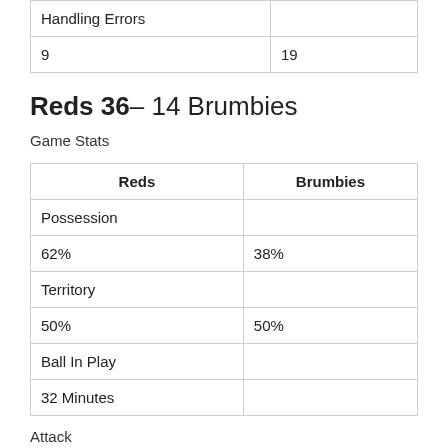| Handling Errors |  |
| 9 | 19 |
Reds 36– 14 Brumbies
Game Stats
| Reds | Brumbies |
| --- | --- |
| Possession |  |
| 62% | 38% |
| Territory |  |
| 50% | 50% |
| Ball In Play |  |
| 32 Minutes |  |
Attack